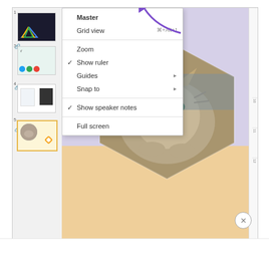[Figure (screenshot): Screenshot of Google Slides interface showing the View menu open with options: Master, Grid view (Ctrl+Alt+1), Zoom, Show ruler (checked), Guides (submenu), Snap to (submenu), Show speaker notes (checked), Full screen. A purple arrow points to Master at top. The slide panel on the left shows 4 slide thumbnails. The main editing area shows a slide with a lavender/peach background and a hexagonal-cropped kitten photo. Slide 5 is selected (highlighted in gold). A close (X) button appears at bottom right.]